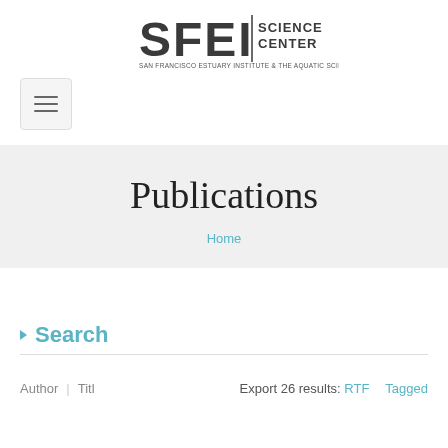SFEI | SCIENCE CENTER — SAN FRANCISCO ESTUARY INSTITUTE & THE AQUATIC SCIENCE CENTER
[Figure (logo): SFEI Science Center logo with bold block letters and tagline 'San Francisco Estuary Institute & The Aquatic Science Center']
Publications
Home
Search
Author | Title   Export 26 results: RTF   Tagged